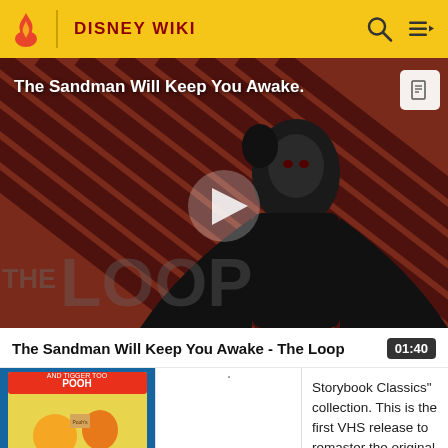DISNEY WIKI
[Figure (screenshot): Video thumbnail showing a dark figure in black cape with red/black diagonal striped background and 'THE LOOP' watermark. Title overlay reads 'The Sandman Will Keep You Awake.' with a play button in the center.]
The Sandman Will Keep You Awake - The Loop
[Figure (screenshot): Bottom strip showing a VHS cover thumbnail of Winnie the Pooh and Tigger Too on the left, a blank white middle section, and text on the right reading: Storybook Classics" collection. This is the first VHS release to remaster the original]
Storybook Classics" collection. This is the first VHS release to remaster the original